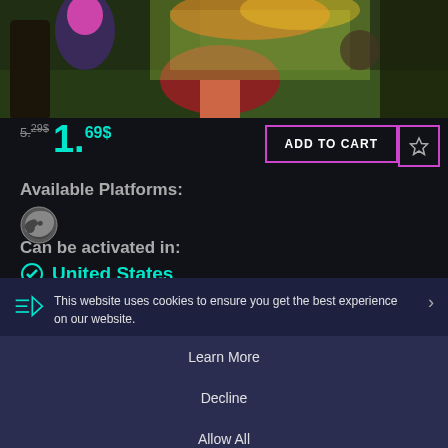[Figure (illustration): Fantasy game artwork showing a character among giant mushrooms in a colorful forest environment]
5.29$ (strikethrough original price)
1.69$
ADD TO CART
Available Platforms:
[Figure (logo): Steam platform logo icon]
Can be activated in:
United States
Delivery:
[Figure (other): Instant delivery icon]
Instant Delivery
Game Details
Release Date:
March 02, 2018
Product type:
This website uses cookies to ensure you get the best experience on our website.
Learn More
Decline
Allow All